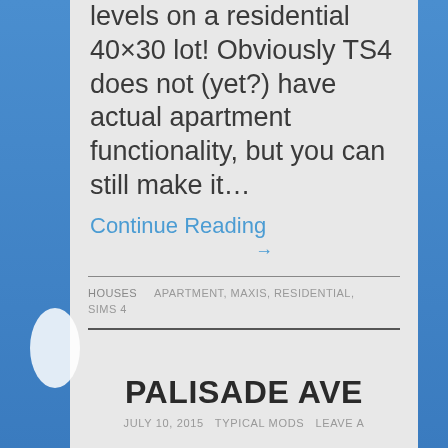levels on a residential 40×30 lot! Obviously TS4 does not (yet?) have actual apartment functionality, but you can still make it…
Continue Reading →
HOUSES    APARTMENT, MAXIS, RESIDENTIAL, SIMS 4
PALISADE AVE
JULY 10, 2015   TYPICAL MODS   LEAVE A